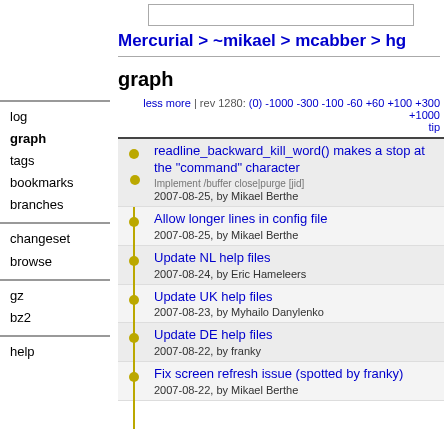Mercurial > ~mikael > mcabber > hg
graph
less more | rev 1280: (0) -1000 -300 -100 -60 +60 +100 +300 +1000 tip
readline_backward_kill_word() makes a stop at the "command" character
Implement /buffer close|purge [jid]
2007-08-25, by Mikael Berthe
Allow longer lines in config file
2007-08-25, by Mikael Berthe
Update NL help files
2007-08-24, by Eric Hameleers
Update UK help files
2007-08-23, by Myhailo Danylenko
Update DE help files
2007-08-22, by franky
Fix screen refresh issue (spotted by franky)
2007-08-22, by Mikael Berthe